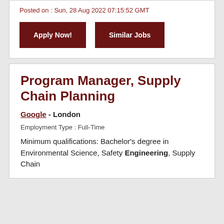Posted on : Sun, 28 Aug 2022 07:15:52 GMT
Apply Now!
Similar Jobs
Program Manager, Supply Chain Planning
Google - London
Employment Type : Full-Time
Minimum qualifications: Bachelor's degree in Environmental Science, Safety Engineering, Supply Chain